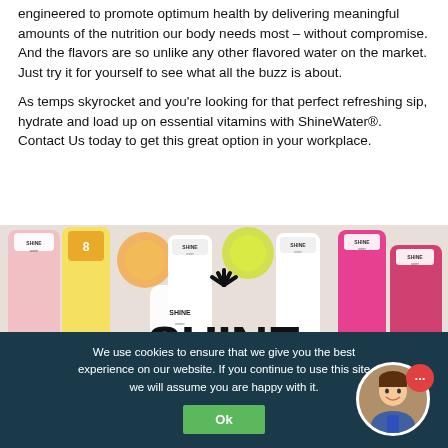engineered to promote optimum health by delivering meaningful amounts of the nutrition our body needs most – without compromise. And the flavors are so unlike any other flavored water on the market. Just try it for yourself to see what all the buzz is about.
As temps skyrocket and you're looking for that perfect refreshing sip, hydrate and load up on essential vitamins with ShineWater®. Contact Us today to get this great option in your workplace.
[Figure (photo): Product photo showing multiple ShineWater bottles in various colors (pink, yellow, orange, white) arranged together with the SHINE logo visible in large text at the bottom center.]
We use cookies to ensure that we give you the best experience on our website. If you continue to use this site we will assume you are happy with it.